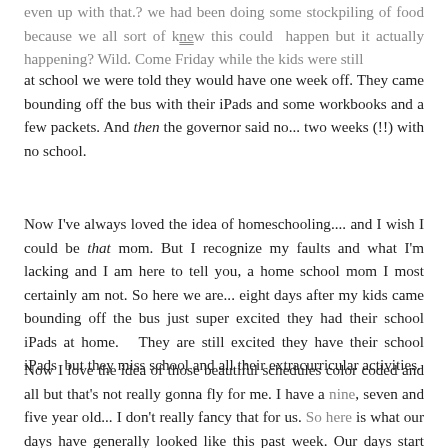even up with that.? we had been doing some stockpiling of food because we all sort of knew this could happen but it actually happening? Wild. Come Friday while the kids were still
at school we were told they would have one week off. They came bounding off the bus with their iPads and some workbooks and a few packets. And then the governor said no... two weeks (!!) with no school.
Now I've always loved the idea of homeschooling.... and I wish I could be that mom. But I recognize my faults and what I'm lacking and I am here to tell you, a home school mom I most certainly am not. So here we are... eight days after my kids came bounding off the bus just super excited they had their school iPads at home.  They are still excited they have their school iPads  but they miss school and all their extracurricular activities.
Now I love the idea of those beautiful schedules color coded and all but that's not really gonna fly for me. I have a nine, seven and five year old... I don't really fancy that for us. So here is what our days have generally looked like this past week. Our days start pretty normally... I fold yesterday's laundry and get